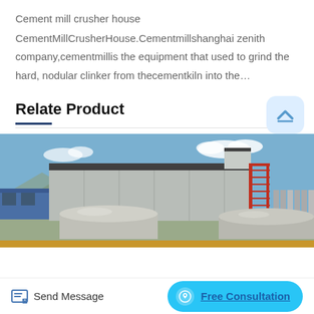Cement mill crusher house
CementMillCrusherHouse.Cementmillshanghai zenith company,cementmillis the equipment that used to grind the hard, nodular clinker from thecementkiln into the...
Relate Product
[Figure (photo): Industrial cement mill crusher house building with large metal structure, stairs on the right side, and cylindrical silos/tanks in the foreground, blue sky with clouds in background.]
Send Message | Free Consultation